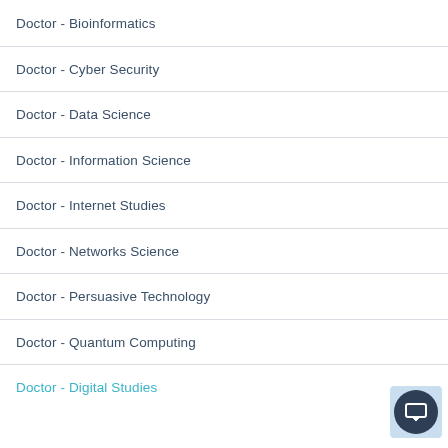Doctor - Bioinformatics
Doctor - Cyber Security
Doctor - Data Science
Doctor - Information Science
Doctor - Internet Studies
Doctor - Networks Science
Doctor - Persuasive Technology
Doctor - Quantum Computing
Doctor - Digital Studies